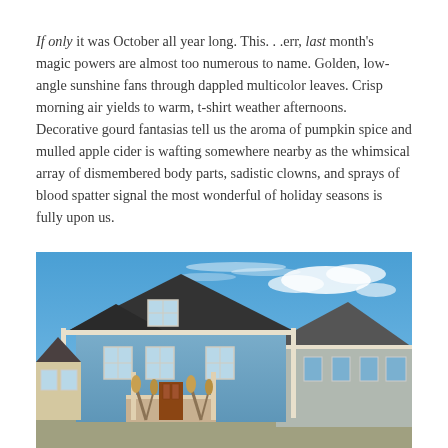If only it was October all year long. This…err, last month's magic powers are almost too numerous to name. Golden, low-angle sunshine fans through dappled multicolor leaves. Crisp morning air yields to warm, t-shirt weather afternoons. Decorative gourd fantasias tell us the aroma of pumpkin spice and mulled apple cider is wafting somewhere nearby as the whimsical array of dismembered body parts, sadistic clowns, and sprays of blood spatter signal the most wonderful of holiday seasons is fully upon us.
[Figure (photo): Exterior photograph of a blue two-story house with white trim under a bright blue sky with wispy clouds. Neighboring grey/white houses visible on the right. Autumn corn stalks and decorations visible near the porch.]